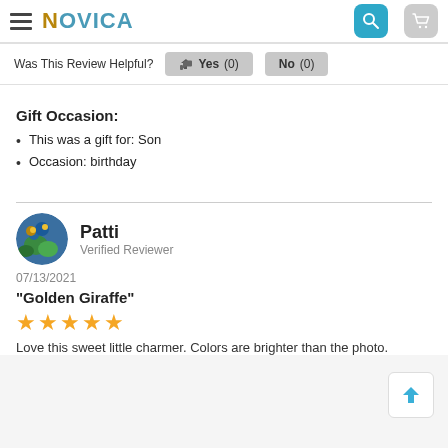NOVICA
Was This Review Helpful?  Yes (0)  No (0)
Gift Occasion:
This was a gift for: Son
Occasion: birthday
Patti
Verified Reviewer
07/13/2021
"Golden Giraffe"
★★★★★
Love this sweet little charmer. Colors are brighter than the photo.